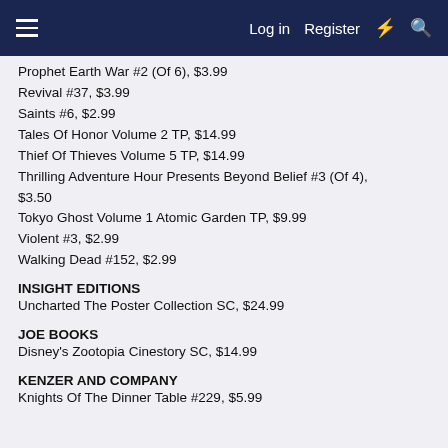Log in  Register
Prophet Earth War #2 (Of 6), $3.99
Revival #37, $3.99
Saints #6, $2.99
Tales Of Honor Volume 2 TP, $14.99
Thief Of Thieves Volume 5 TP, $14.99
Thrilling Adventure Hour Presents Beyond Belief #3 (Of 4), $3.50
Tokyo Ghost Volume 1 Atomic Garden TP, $9.99
Violent #3, $2.99
Walking Dead #152, $2.99
INSIGHT EDITIONS
Uncharted The Poster Collection SC, $24.99
JOE BOOKS
Disney's Zootopia Cinestory SC, $14.99
KENZER AND COMPANY
Knights Of The Dinner Table #229, $5.99